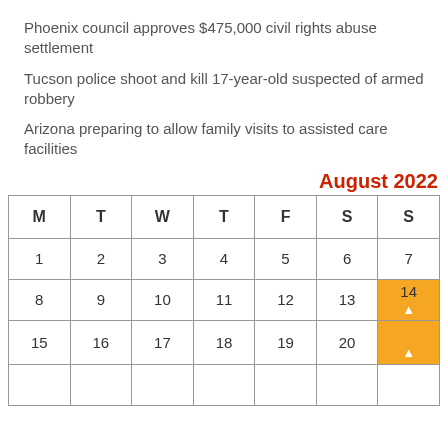Phoenix council approves $475,000 civil rights abuse settlement
Tucson police shoot and kill 17-year-old suspected of armed robbery
Arizona preparing to allow family visits to assisted care facilities
August 2022
| M | T | W | T | F | S | S |
| --- | --- | --- | --- | --- | --- | --- |
| 1 | 2 | 3 | 4 | 5 | 6 | 7 |
| 8 | 9 | 10 | 11 | 12 | 13 | 14 |
| 15 | 16 | 17 | 18 | 19 | 20 |  |
|  |  |  |  |  |  |  |